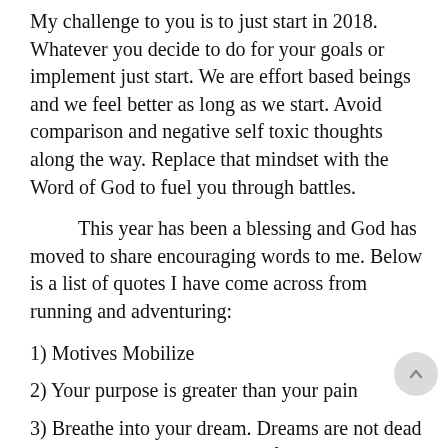My challenge to you is to just start in 2018. Whatever you decide to do for your goals or implement just start. We are effort based beings and we feel better as long as we start. Avoid comparison and negative self toxic thoughts along the way. Replace that mindset with the Word of God to fuel you through battles.
This year has been a blessing and God has moved to share encouraging words to me. Below is a list of quotes I have come across from running and adventuring:
1) Motives Mobilize
2) Your purpose is greater than your pain
3) Breathe into your dream. Dreams are not dead all you have to do is breathe life into it.
4) Persistently and patiently pursue your